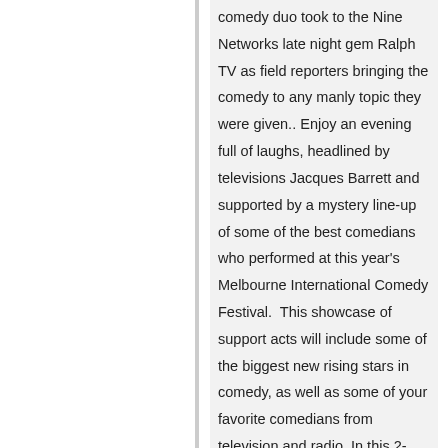comedy duo took to the Nine Networks late night gem Ralph TV as field reporters bringing the comedy to any manly topic they were given.. Enjoy an evening full of laughs, headlined by televisions Jacques Barrett and supported by a mystery line-up of some of the best comedians who performed at this year's Melbourne International Comedy Festival.  This showcase of support acts will include some of the biggest new rising stars in comedy, as well as some of your favorite comedians from television and radio. In this 2-hour live stand-up show, youll lose yourself in a night filled to the bursting with fun and laughter!
This show will consist of up to 6 of the funniest acts in Australia!
DOORS WILL OPEN AT 8PM AND SHOW